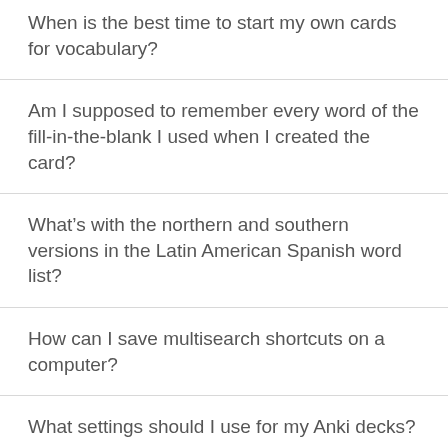When is the best time to start my own cards for vocabulary?
Am I supposed to remember every word of the fill-in-the-blank I used when I created the card?
What’s with the northern and southern versions in the Latin American Spanish word list?
How can I save multisearch shortcuts on a computer?
What settings should I use for my Anki decks?
Where can I find more multisearch decks?